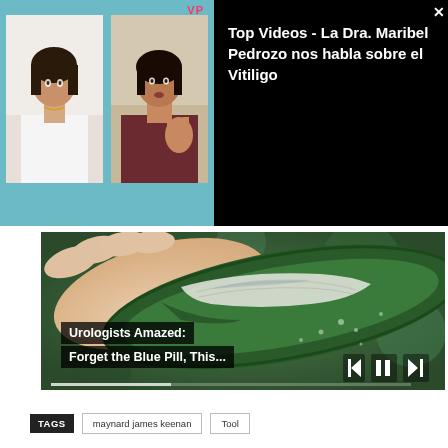[Figure (screenshot): Video popup overlay showing two thumbnail images of women on the left (teal/blue background) and a black panel on the right with white bold text reading 'Top Videos - La Dra. Maribel Pedrozo nos habla sobre el Vitiligo'. VP badge and X close button visible.]
Top Videos - La Dra. Maribel Pedrozo nos habla sobre el Vitiligo
[Figure (screenshot): Main video player showing a close-up photo of a hand holding an aloe vera leaf cut open showing white gel. Video playback controls (skip back, pause, skip forward) visible at bottom right. Progress bar at bottom. Advertisement overlay text at bottom left: 'Urologists Amazed: Forget the Blue Pill, This...']
Urologists Amazed: Forget the Blue Pill, This...
TAGS  maynard james keenan  Tool